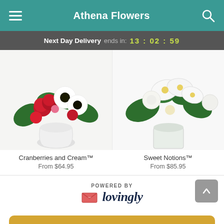Athena Flowers
Next Day Delivery ends in: 13 : 02 : 59
[Figure (photo): Cranberries and Cream flower arrangement in a white round vase with red carnations and white gerbera daisies]
[Figure (photo): Sweet Notions flower arrangement in a white cylindrical vase with white lilies and roses]
Cranberries and Cream™
From $64.95
Sweet Notions™
From $85.95
POWERED BY lovingly
Start Order